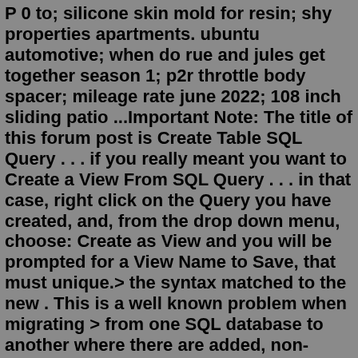P 0 to; silicone skin mold for resin; shy properties apartments. ubuntu automotive; when do rue and jules get together season 1; p2r throttle body spacer; mileage rate june 2022; 108 inch sliding patio ...Important Note: The title of this forum post is Create Table SQL Query . . . if you really meant you want to Create a View From SQL Query . . . in that case, right click on the Query you have created, and, from the drop down menu, choose: Create as View and you will be prompted for a View Name to Save, that must unique.> the syntax matched to the new . This is a well known problem when migrating > from one SQL database to another where there are added, non-standard data > types. > > Jay > > > On 01/15/2014 05:12 PM, Tom Davies wrote: >> >> Hi :) >> Is it likely to be possible to connect Base directly to the original >> data?.Apr 13, 2014 · Things are very easy and simple way to do this update query. In order to run SQL UPDATE query in BASE (ODB) there are two avenues. a) Use a macro. b) Use TOOLS → SQL …. [After opening the DB, Look up the Menu] of